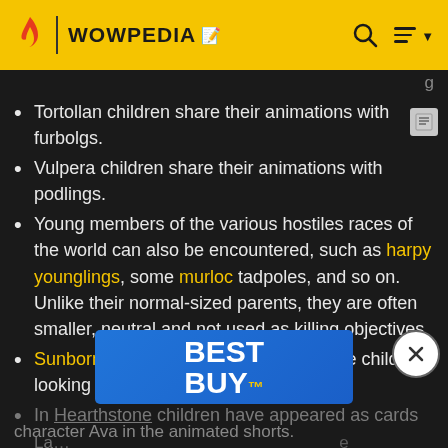WOWPEDIA
Tortollan children share their animations with furbolgs.
Vulpera children share their animations with podlings.
Young members of the various hostiles races of the world can also be encountered, such as harpy younglings, some murloc tadpoles, and so on. Unlike their normal-sized parents, they are often smaller, neutral and not used as killing objectives.
Sunborne Val'kyr and Unborn Val'kyr are child-looking val'kyr battle pets.
In Hearthstone children have appeared as cards La... e Jo... character Ava in the animated shorts.
[Figure (screenshot): Best Buy advertisement banner overlay on the page]
[Figure (other): Close/dismiss button (X in circle)]